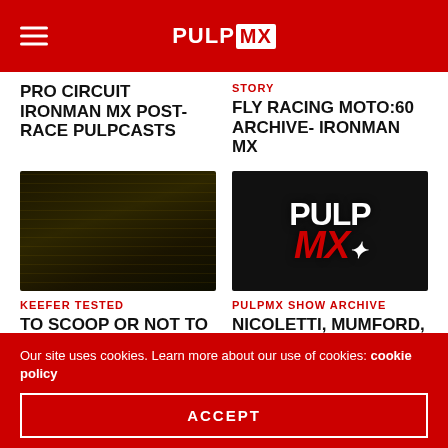PULPMX
PRO CIRCUIT IRONMAN MX POST-RACE PULPCASTS
STORY
FLY RACING MOTO:60 ARCHIVE- IRONMAN MX
[Figure (photo): Dark image of a motocross track or event scene]
KEEFER TESTED
TO SCOOP OR NOT TO SCOOP?
[Figure (photo): PulpMX logo on dark background with red MX lettering]
PULPMX SHOW ARCHIVE
NICOLETTI, MUMFORD, HAHN, GROTTO ARCHIVE
Our site uses cookies. Learn more about our use of cookies: cookie policy
ACCEPT